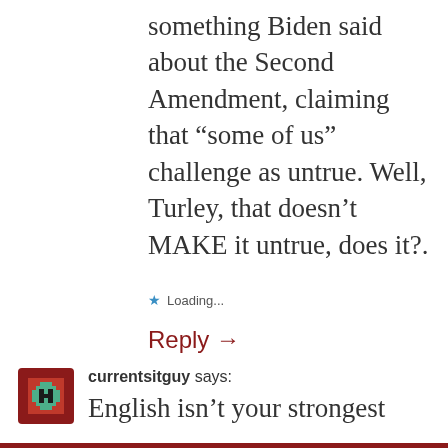something Biden said about the Second Amendment, claiming that “some of us” challenge as untrue. Well, Turley, that doesn’t MAKE it untrue, does it?.
★ Loading...
Reply →
currentsitguy says:
English isn’t your strongest